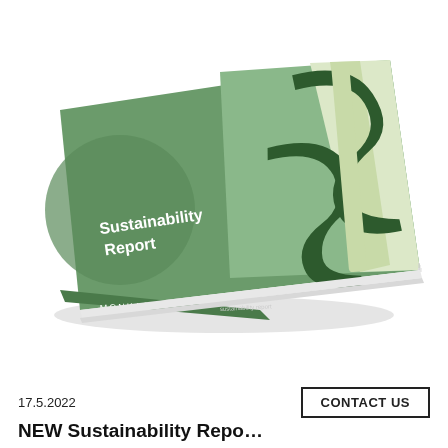[Figure (photo): A physical sustainability report booklet photographed at an angle. The cover is green with abstract curved shapes in dark green and light cream/beige tones. The text 'Sustainability Report' appears in white on the left side of the cover. The bottom spine shows a logo reading 'MONKAJOKI' in white text.]
17.5.2022
CONTACT US
NEW Sustainability Repo...